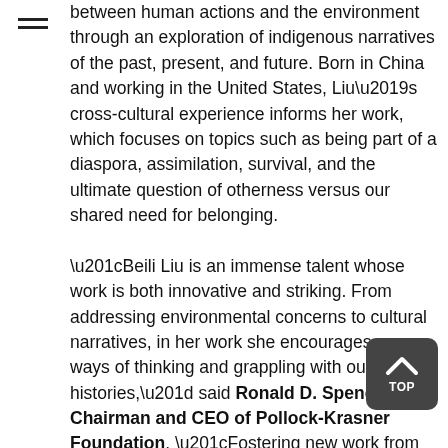between human actions and the environment through an exploration of indigenous narratives of the past, present, and future. Born in China and working in the United States, Liu's cross-cultural experience informs her work, which focuses on topics such as being part of a diaspora, assimilation, survival, and the ultimate question of otherness versus our shared need for belonging.

“Beili Liu is an immense talent whose work is both innovative and striking. From addressing environmental concerns to cultural narratives, in her work she encourages new ways of thinking and grappling with our shared histories,” said Ronald D. Spencer, Chairman and CEO of Pollock-Krasner Foundation. “Fostering new work from visual artists is at the core of the Pollock-Krasner Foundation’s mission, and we are delighted to help support her work and exhibition in Norway in the coming year.”